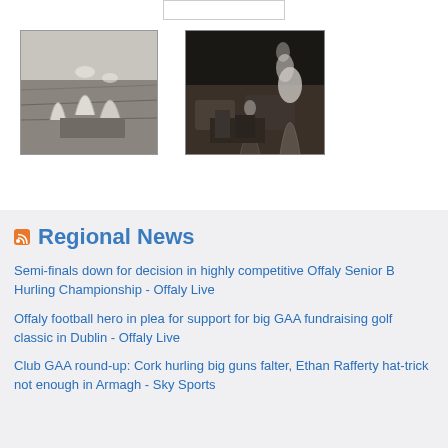[Figure (photo): Black and white aerial photograph of industrial cooling towers with surrounding landscape]
[Figure (photo): Color aerial photograph of industrial cooling tower emitting smoke/steam at night or dusk]
Regional News
Semi-finals down for decision in highly competitive Offaly Senior B Hurling Championship - Offaly Live
Offaly football hero in plea for support for big GAA fundraising golf classic in Dublin - Offaly Live
Club GAA round-up: Cork hurling big guns falter, Ethan Rafferty hat-trick not enough in Armagh - Sky Sports